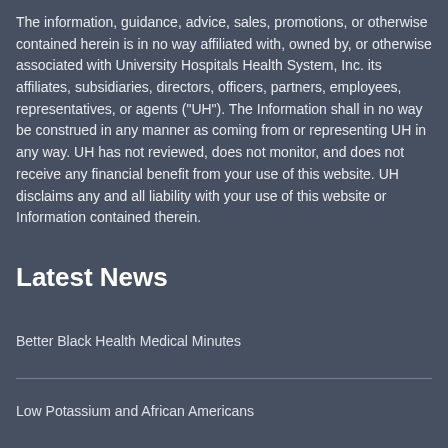The information, guidance, advice, sales, promotions, or otherwise contained herein is in no way affiliated with, owned by, or otherwise associated with University Hospitals Health System, Inc. its affiliates, subsidiaries, directors, officers, partners, employees, representatives, or agents ("UH"). The Information shall in no way be construed in any manner as coming from or representing UH in any way. UH has not reviewed, does not monitor, and does not receive any financial benefit from your use of this website. UH disclaims any and all liability with your use of this website or Information contained therein.
Latest News
Better Black Health Medical Minutes
Low Potassium and African Americans